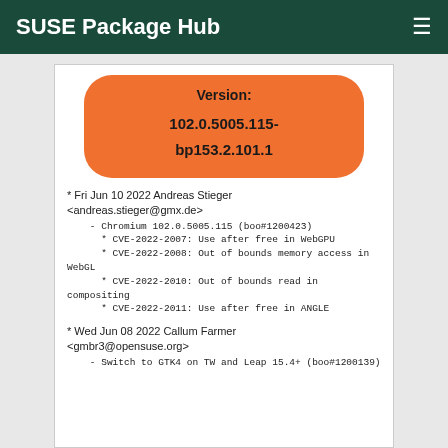SUSE Package Hub
[Figure (other): Orange rounded rectangle badge showing version: 102.0.5005.115-bp153.2.101.1]
* Fri Jun 10 2022 Andreas Stieger <andreas.stieger@gmx.de>
    - Chromium 102.0.5005.115 (boo#1200423)
      * CVE-2022-2007: Use after free in WebGPU
      * CVE-2022-2008: Out of bounds memory access in WebGL
      * CVE-2022-2010: Out of bounds read in compositing
      * CVE-2022-2011: Use after free in ANGLE
* Wed Jun 08 2022 Callum Farmer <gmbr3@opensuse.org>
    - Switch to GTK4 on TW and Leap 15.4+ (boo#1200139)